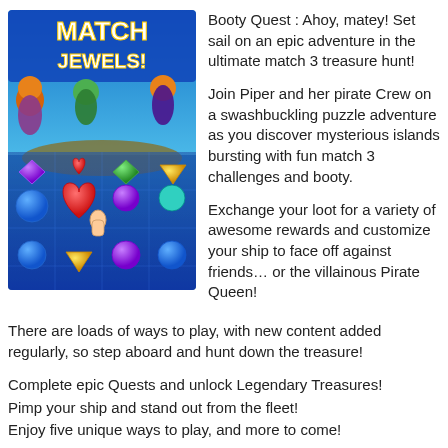[Figure (screenshot): Match Jewels! game screenshot showing colorful gem/jewel match-3 puzzle with pirate characters on top and jewels (hearts, diamonds, triangles, circles) in blue, purple, red, green, gold colors on a grid background.]
Booty Quest : Ahoy, matey! Set sail on an epic adventure in the ultimate match 3 treasure hunt!
Join Piper and her pirate Crew on a swashbuckling puzzle adventure as you discover mysterious islands bursting with fun match 3 challenges and booty.
Exchange your loot for a variety of awesome rewards and customize your ship to face off against friends… or the villainous Pirate Queen! There are loads of ways to play, with new content added regularly, so step aboard and hunt down the treasure!
Complete epic Quests and unlock Legendary Treasures!
Pimp your ship and stand out from the fleet!
Enjoy five unique ways to play, and more to come!